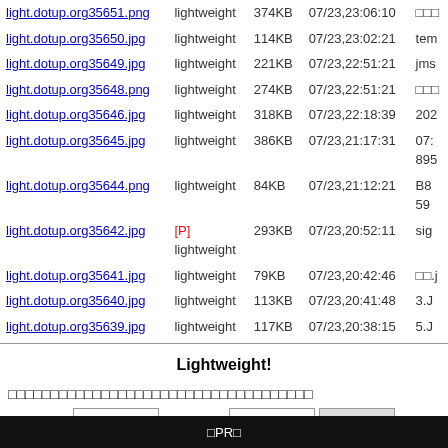| filename | type | size | date | user |
| --- | --- | --- | --- | --- |
| light.dotup.org35651.png | lightweight | 374KB | 07/23,23:06:10 | □□□ |
| light.dotup.org35650.jpg | lightweight | 114KB | 07/23,23:02:21 | tem |
| light.dotup.org35649.jpg | lightweight | 221KB | 07/23,22:51:21 | jms |
| light.dotup.org35648.png | lightweight | 274KB | 07/23,22:51:21 | □□□ |
| light.dotup.org35646.jpg | lightweight | 318KB | 07/23,22:18:39 | 202 |
| light.dotup.org35645.jpg | lightweight | 386KB | 07/23,21:17:31 | 07: 895 |
| light.dotup.org35644.png | lightweight | 84KB | 07/23,21:12:21 | B8 59 |
| light.dotup.org35642.jpg | [P] lightweight | 293KB | 07/23,20:52:11 | sig |
| light.dotup.org35641.jpg | lightweight | 79KB | 07/23,20:42:46 | □□.j |
| light.dotup.org35640.jpg | lightweight | 113KB | 07/23,20:41:48 | 3.J |
| light.dotup.org35639.jpg | lightweight | 117KB | 07/23,20:38:15 | 5.J |
Lightweight!
□□□□□□□□□□□□□□□□□□□□□□□□□□□□□□□□□□□□
□□□□□□□□: [input] □□□□□□□□: [input] □□□□□□□□
□PR□